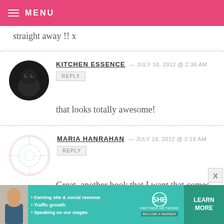MENU
straight away !! x
KITCHEN ESSENCE — JULY 18, 2012 @ 2:36 AM
REPLY
that looks totally awesome!
MARIA HANRAHAN — JULY 18, 2012 @ 2:18 AM
REPLY
Great, another book that I want that comes out this fall! Between you and
[Figure (infographic): SHE Partner Network advertisement banner with a woman, teal background, bullet points about earning site & social revenue, traffic growth, speaking on stages, SHE logo, and LEARN MORE button]